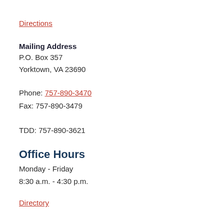Directions
Mailing Address
P.O. Box 357
Yorktown, VA 23690
Phone: 757-890-3470
Fax: 757-890-3479
TDD: 757-890-3621
Office Hours
Monday - Friday
8:30 a.m. - 4:30 p.m.
Directory